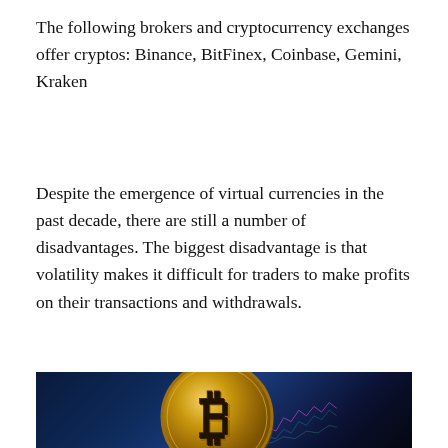The following brokers and cryptocurrency exchanges offer cryptos: Binance, BitFinex, Coinbase, Gemini, Kraken
Despite the emergence of virtual currencies in the past decade, there are still a number of disadvantages. The biggest disadvantage is that volatility makes it difficult for traders to make profits on their transactions and withdrawals.
[Figure (photo): A gold Bitcoin coin in front of a blurred blue background showing stock market chart lines in purple and green]